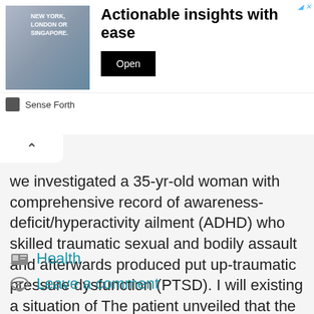[Figure (screenshot): Advertisement banner for 'Sense Forth' showing a person in a suit alongside text 'NEW YORK, LONDON OR SINGAPORE.' with headline 'Actionable insights with ease' and an Open button.]
we investigated a 35-yr-old woman with comprehensive record of awareness-deficit/hyperactivity ailment (ADHD) who skilled traumatic sexual and bodily assault and afterwards produced put up-traumatic pressure dysfunction (PTSD). I will existing a situation of The patient unveiled that the latest drug (Vyvanse) used to handle ADHD was the only therapy that assisted manage intrusive feelings and ... Read more
Health
Leave a comment